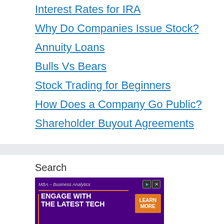Interest Rates for IRA
Why Do Companies Issue Stock?
Annuity Loans
Bulls Vs Bears
Stock Trading for Beginners
How Does a Company Go Public?
Shareholder Buyout Agreements
Search
[Figure (screenshot): Advertisement banner for MBA - Business Analytics at High Point University with text: ENGAGE WITH THE LATEST TECH and a LEARN MORE button]